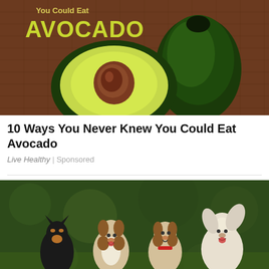[Figure (photo): Photo of avocados on a brown burlap background with yellow text overlay reading 'You Could Eat AVOCADO' — a halved avocado showing the pit and a whole avocado]
10 Ways You Never Knew You Could Eat Avocado
Live Healthy | Sponsored
[Figure (photo): Photo of four small dogs running toward the camera on a green grassy background — includes a black miniature pinscher, two Jack Russell terriers, and a white terrier]